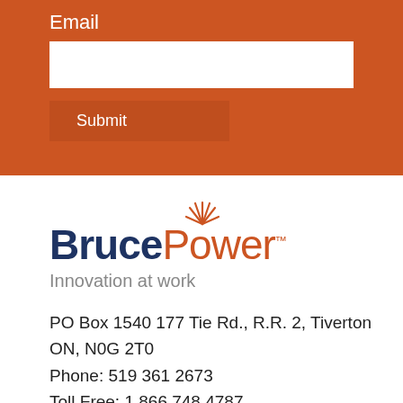Email
[Figure (other): Email input field (white rectangle)]
[Figure (other): Submit button]
[Figure (logo): Bruce Power logo with sunburst icon above the 'w' in Power. 'Bruce' in dark navy bold, 'Power' in orange, with TM superscript.]
Innovation at work
PO Box 1540 177 Tie Rd., R.R. 2, Tiverton ON, N0G 2T0
Phone: 519 361 2673
Toll Free: 1 866 748 4787